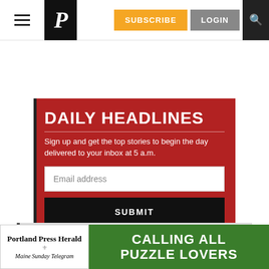Portland Press Herald — SUBSCRIBE | LOGIN
DAILY HEADLINES
Sign up and get the top stories to begin the day delivered to your inbox at 5 a.m.
Email address
SUBMIT
[Figure (infographic): Portland Press Herald / Maine Sunday Telegram ad banner: CALLING ALL PUZZLE LOVERS on green background]